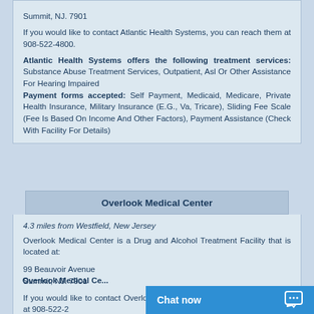Summit, NJ. 7901
If you would like to contact Atlantic Health Systems, you can reach them at 908-522-4800.
Atlantic Health Systems offers the following treatment services: Substance Abuse Treatment Services, Outpatient, Asl Or Other Assistance For Hearing Impaired. Payment forms accepted: Self Payment, Medicaid, Medicare, Private Health Insurance, Military Insurance (E.G., Va, Tricare), Sliding Fee Scale (Fee Is Based On Income And Other Factors), Payment Assistance (Check With Facility For Details)
Overlook Medical Center
4.3 miles from Westfield, New Jersey
Overlook Medical Center is a Drug and Alcohol Treatment Facility that is located at:
99 Beauvoir Avenue
Summit, NJ. 7901
If you would like to contact Overlook Medical Center, you can reach them at 908-522-2...
Overlook Medical Ce...